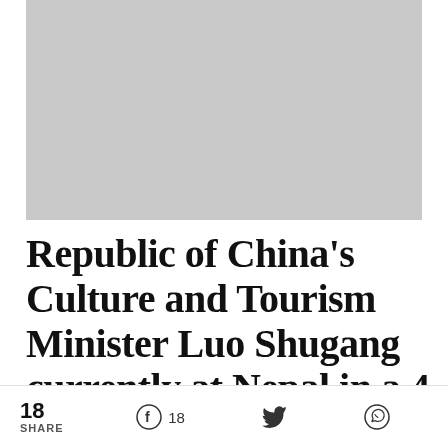[Figure (photo): Gray placeholder image block at the top of the page]
Republic of China’s Culture and Tourism Minister Luo Shugang currently at Nepal in a 4 days trip
18 SHARE  18